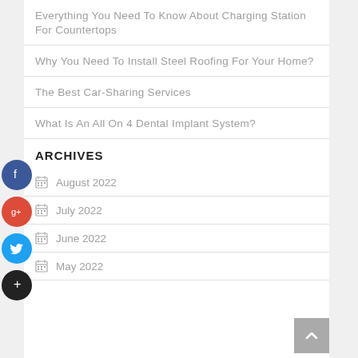Everything You Need To Know About Charging Station For Countertops
Why You Need To Install Steel Roofing For Your Home?
The Best Car-Sharing Services
What Is An All On 4 Dental Implant System?
ARCHIVES
August 2022
July 2022
June 2022
May 2022